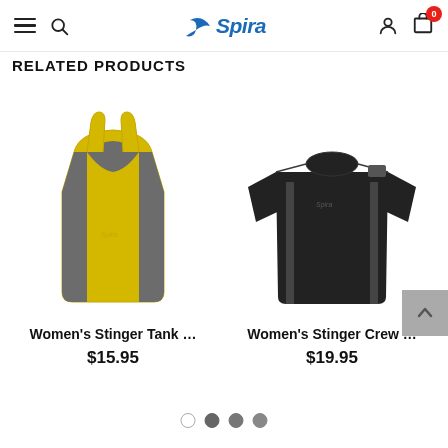Spira — navigation header with hamburger menu, search, logo, account and cart icons
RELATED PRODUCTS
[Figure (photo): Yellow and grey women's athletic tank top (Spira brand)]
Women's Stinger Tank …
$15.95
[Figure (photo): Black and dark grey women's short-sleeve athletic crew shirt (Spira brand)]
Women's Stinger Crew …
$19.95